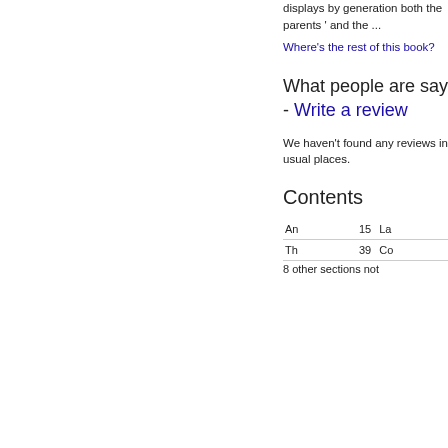displays by generation both the parents ' and the ...
Where's the rest of this book?
What people are saying - Write a review
We haven't found any reviews in the usual places.
Contents
|  |  |  |  |
| --- | --- | --- | --- |
| An | 15 | La | 57 |
| Th | 39 | Co |  |
8 other sections not